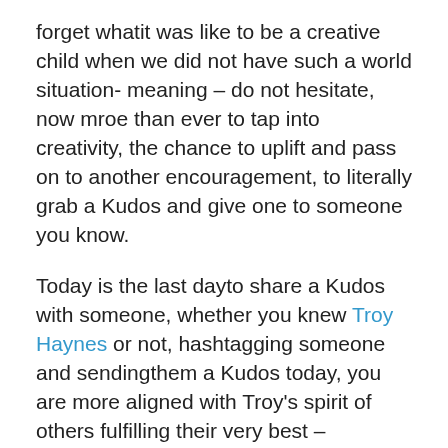forget whatit was like to be a creative child when we did not have such a world situation- meaning – do not hesitate, now mroe than ever to tap into creativity, the chance to uplift and pass on to another encouragement, to literally grab a Kudos and give one to someone you know.
Today is the last dayto share a Kudos with someone, whether you knew Troy Haynes or not, hashtagging someone and sendingthem a Kudos today, you are more aligned with Troy's spirit of others fulfilling their very best – something we all share despite the friendships we acquire, nothing more willbring you to the spirit and sense of giving Troy contained of passing it forward.
In a difficult tmime for so many, I can think of no better time for you to reach out to someone and givem them a Kudos nudge, so theyknow you are thinking about them –